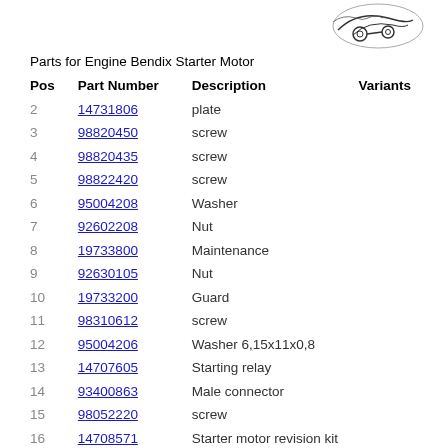[Figure (illustration): Stylized logo or emblem illustration in the top right corner, appears to be a mechanical or brand logo with cursive/decorative elements]
Parts for Engine Bendix Starter Motor
| Pos | Part Number | Description | Variants |
| --- | --- | --- | --- |
| 2 | 14731806 | plate |  |
| 3 | 98820450 | screw |  |
| 4 | 98820435 | screw |  |
| 5 | 98822420 | screw |  |
| 6 | 95004208 | Washer |  |
| 7 | 92602208 | Nut |  |
| 8 | 19733800 | Maintenance |  |
| 9 | 92630105 | Nut |  |
| 10 | 19733200 | Guard |  |
| 11 | 98310612 | screw |  |
| 12 | 95004206 | Washer 6,15x11x0,8 |  |
| 13 | 14707605 | Starting relay |  |
| 14 | 93400863 | Male connector |  |
| 15 | 98052220 | screw |  |
| 16 | 14708571 | Starter motor revision kit |  |